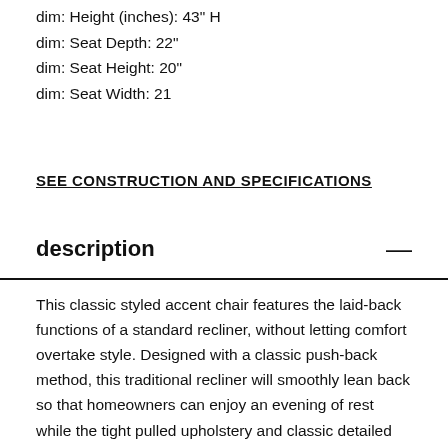dim: Height (inches): 43" H
dim: Seat Depth: 22"
dim: Seat Height: 20"
dim: Seat Width: 21
SEE CONSTRUCTION AND SPECIFICATIONS
description
This classic styled accent chair features the laid-back functions of a standard recliner, without letting comfort overtake style. Designed with a classic push-back method, this traditional recliner will smoothly lean back so that homeowners can enjoy an evening of rest while the tight pulled upholstery and classic detailed accents enhance a rooms style with timeless design. Combining exposed wood cabriole legs with a wing-back style and smooth rolled arms, this reclining accent chair will make a delightful addition to any home's interior.